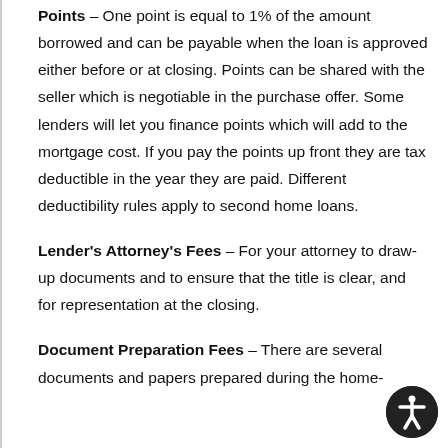Points – One point is equal to 1% of the amount borrowed and can be payable when the loan is approved either before or at closing. Points can be shared with the seller which is negotiable in the purchase offer. Some lenders will let you finance points which will add to the mortgage cost. If you pay the points up front they are tax deductible in the year they are paid. Different deductibility rules apply to second home loans.
Lender's Attorney's Fees – For your attorney to draw-up documents and to ensure that the title is clear, and for representation at the closing.
Document Preparation Fees – There are several documents and papers prepared during the home-